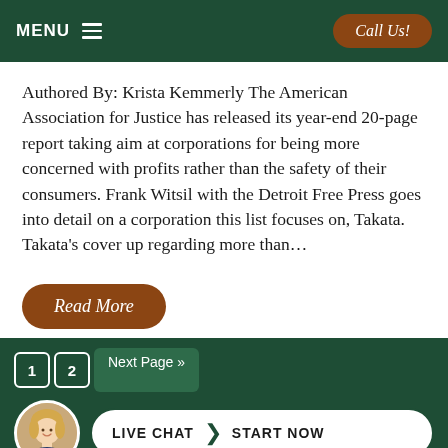MENU  |  Call Us!
Authored By: Krista Kemmerly The American Association for Justice has released its year-end 20-page report taking aim at corporations for being more concerned with profits rather than the safety of their consumers. Frank Witsil with the Detroit Free Press goes into detail on a corporation this list focuses on, Takata. Takata’s cover up regarding more than…
Read More
1  2  Next Page »  |  LIVE CHAT  START NOW